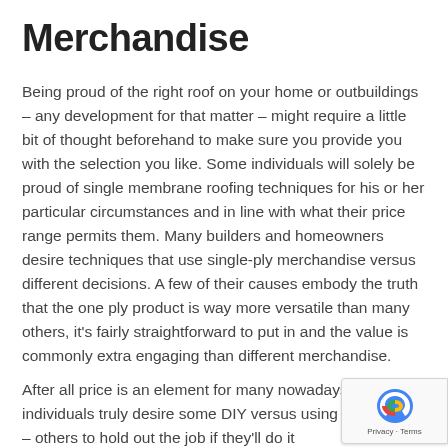Merchandise
Being proud of the right roof on your home or outbuildings – any development for that matter – might require a little bit of thought beforehand to make sure you provide you with the selection you like. Some individuals will solely be proud of single membrane roofing techniques for his or her particular circumstances and in line with what their price range permits them. Many builders and homeowners desire techniques that use single-ply merchandise versus different decisions. A few of their causes embody the truth that the one ply product is way more versatile than many others, it's fairly straightforward to put in and the value is commonly extra engaging than different merchandise.
After all price is an element for many nowadays, and a few individuals truly desire some DIY versus using – a paying – others to hold out the job if they'll do it